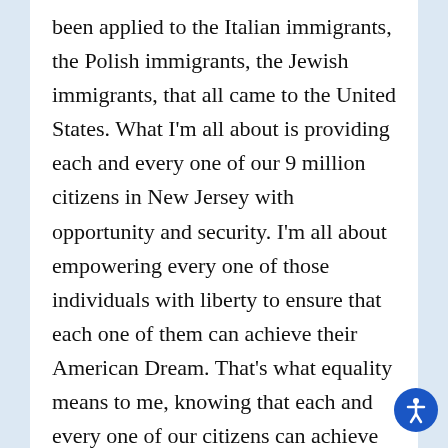been applied to the Italian immigrants, the Polish immigrants, the Jewish immigrants, that all came to the United States. What I'm all about is providing each and every one of our 9 million citizens in New Jersey with opportunity and security. I'm all about empowering every one of those individuals with liberty to ensure that each one of them can achieve their American Dream. That's what equality means to me, knowing that each and every one of our citizens can achieve their American